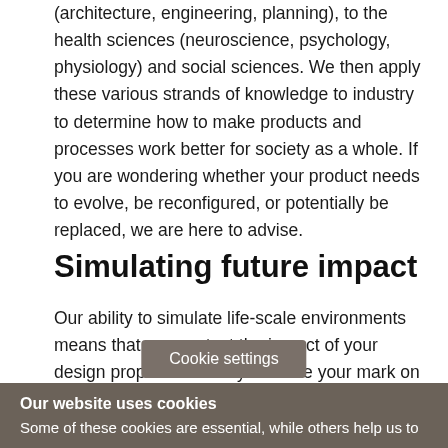(architecture, engineering, planning), to the health sciences (neuroscience, psychology, physiology) and social sciences. We then apply these various strands of knowledge to industry to determine how to make products and processes work better for society as a whole. If you are wondering whether your product needs to evolve, be reconfigured, or potentially be replaced, we are here to advise.
Simulating future impact
Our ability to simulate life-scale environments means that we can test the impact of your design proposal before you make your mark on the world. Whether it is a piece of architectu, or simply a new
[Figure (other): Cookie settings button overlay]
Our website uses cookies
Some of these cookies are essential, while others help us to